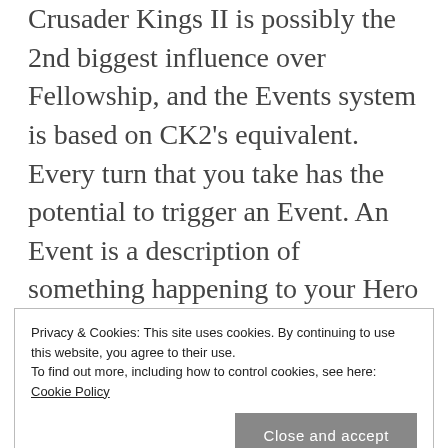Crusader Kings II is possibly the 2nd biggest influence over Fellowship, and the Events system is based on CK2's equivalent. Every turn that you take has the potential to trigger an Event. An Event is a description of something happening to your Hero that has multiple options to pick from for a resolution. Actions in-game have a list of Events that they can trigger. For example, drinking a Strength Potion in the Apothecary has a small chance to trigger the "I don't feel so good..." Event. This Event gives you the option of forcibly ejecting the substance; puking it out and losing its effect, but not
Privacy & Cookies: This site uses cookies. By continuing to use this website, you agree to their use. To find out more, including how to control cookies, see here: Cookie Policy
Close and accept
effect), or overcoming the illness and improving your